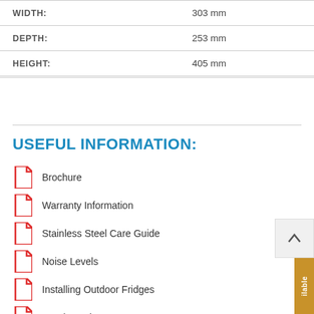| Property | Value |
| --- | --- |
| WIDTH: | 303 mm |
| DEPTH: | 253 mm |
| HEIGHT: | 405 mm |
USEFUL INFORMATION:
Brochure
Warranty Information
Stainless Steel Care Guide
Noise Levels
Installing Outdoor Fridges
Condensation
Building In Bible